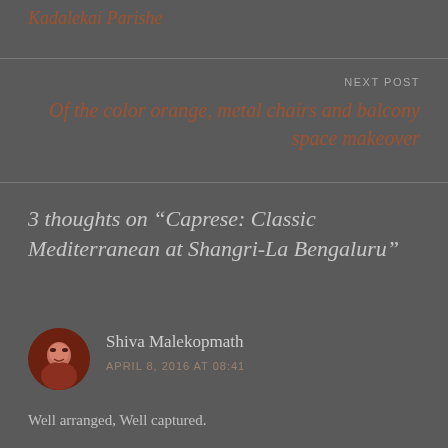Kadalekai Parishe
NEXT POST
Of the color orange, metal chairs and balcony space makeover
3 thoughts on “Caprese: Classic Mediterranean at Shangri-La Bengaluru”
Shiva Malekopmath
APRIL 8, 2016 AT 08:41
Well arranged, Well captured.